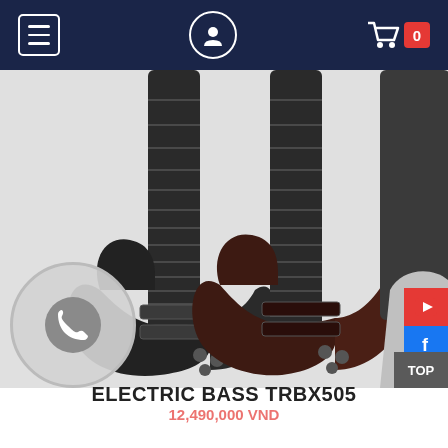Navigation bar with menu, user, and cart icons
[Figure (photo): Three Yamaha TRBX505 electric bass guitars in different colors: black (left), dark red/brown (center), and white/grey (right, partially visible). The guitars have multi-string necks and dual pickups. Social media buttons (YouTube, Facebook, Zalo) are visible on the right edge.]
ELECTRIC BASS TRBX505
Price (partially visible, cut off at bottom)